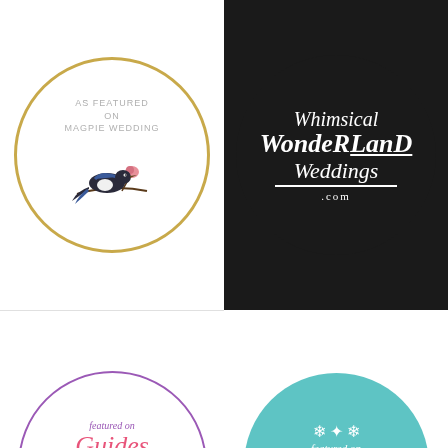[Figure (logo): Magpie Wedding badge - circular gold ring with text 'AS FEATURED ON MAGPIE WEDDING' and illustrated magpie bird with flower]
[Figure (logo): Whimsical Wonderland Weddings .com badge - dark circle with white script text]
[Figure (logo): Featured on Guides for Brides badge - white circle with purple border and pink script text]
[Figure (logo): Featured on Festival Brides 2019 badge - teal circle with white text]
[Figure (logo): As seen on The English Wedding Blog badge - grey circle with white text, with scroll-to-top button and reCAPTCHA overlay]
[Figure (logo): Partial gold circle badge at bottom left]
[Figure (logo): Partial 'Loved by' badge at bottom right with reCAPTCHA Privacy Terms overlay]